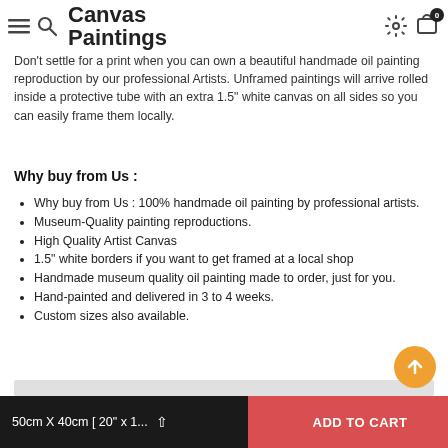Canvas Paintings (site header with navigation icons)
Don't settle for a print when you can own a beautiful handmade oil painting reproduction by our professional Artists. Unframed paintings will arrive rolled inside a protective tube with an extra 1.5" white canvas on all sides so you can easily frame them locally.
Why buy from Us :
Why buy from Us : 100% handmade oil painting by professional artists.
Museum-Quality painting reproductions.
High Quality Artist Canvas
1.5" white borders if you want to get framed at a local shop
Handmade museum quality oil painting made to order, just for you.
Hand-painted and delivered in 3 to 4 weeks.
Custom sizes also available.
50cm X 40cm [ 20" x 1...   ADD TO CART